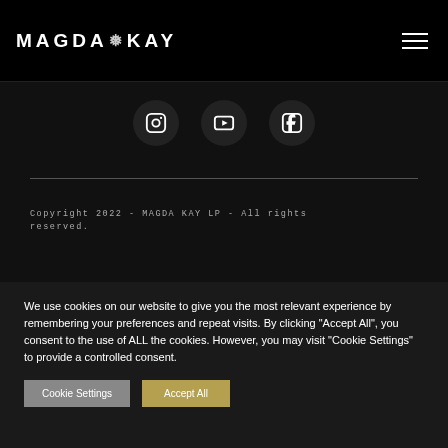MAGDA KAY
[Figure (logo): Social media icons: Instagram, YouTube, Facebook — circular dark buttons]
Copyright 2022 - MAGDA KAY LP - All rights reserved.
We use cookies on our website to give you the most relevant experience by remembering your preferences and repeat visits. By clicking "Accept All", you consent to the use of ALL the cookies. However, you may visit "Cookie Settings" to provide a controlled consent.
Cookie Settings   Accept All